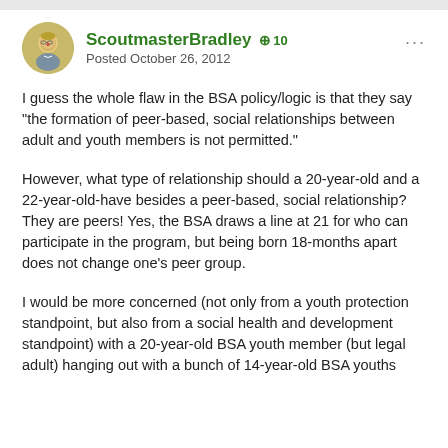ScoutmasterBradley  +10  Posted October 26, 2012
I guess the whole flaw in the BSA policy/logic is that they say "the formation of peer-based, social relationships between adult and youth members is not permitted."
However, what type of relationship should a 20-year-old and a 22-year-old-have besides a peer-based, social relationship? They are peers! Yes, the BSA draws a line at 21 for who can participate in the program, but being born 18-months apart does not change one's peer group.
I would be more concerned (not only from a youth protection standpoint, but also from a social health and development standpoint) with a 20-year-old BSA youth member (but legal adult) hanging out with a bunch of 14-year-old BSA youths